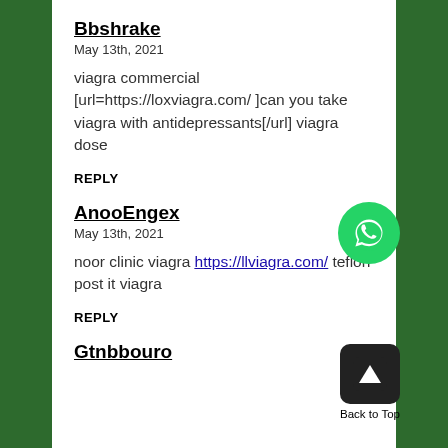Bbshrake
May 13th, 2021
viagra commercial [url=https://loxviagra.com/ ]can you take viagra with antidepressants[/url] viagra dose
REPLY
AnooEngex
May 13th, 2021
noor clinic viagra https://llviagra.com/ teflon post it viagra
REPLY
Gtnbbouro